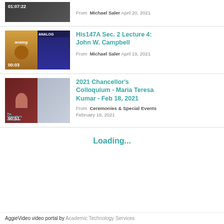[Figure (screenshot): Video thumbnail cropped at top, timestamp 01:07:22 shown]
From  Michael Saler  April 20, 2021
[Figure (screenshot): Video thumbnail showing two Analog magazine covers, timestamp 00:03]
His147A Sec. 2 Lecture 4: John W. Campbell
From  Michael Saler  April 19, 2021
[Figure (screenshot): Video thumbnail showing two people in split screen, timestamp 50:51, Chancellor's Colloquium label]
2021 Chancellor's Colloquium - Maria Teresa Kumar - Feb 18, 2021
From  Ceremonies & Special Events  February 18, 2021
Loading...
AggieVideo video portal by  Academic Technology Services